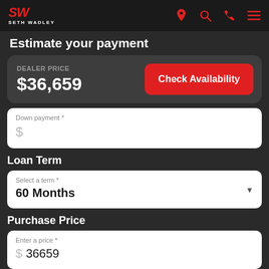SW SETH WADLEY — navigation bar with location, search, phone, menu icons
Estimate your payment
DEALER PRICE
$36,659
Check Availability
Down payment *
$
Loan Term
Select a term *
60 Months
Purchase Price
Enter a price *
$ 36659
APR %